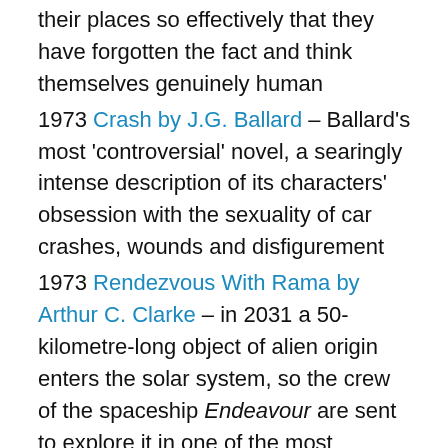their places so effectively that they have forgotten the fact and think themselves genuinely human
1973 Crash by J.G. Ballard – Ballard's most 'controversial' novel, a searingly intense description of its characters' obsession with the sexuality of car crashes, wounds and disfigurement
1973 Rendezvous With Rama by Arthur C. Clarke – in 2031 a 50-kilometre-long object of alien origin enters the solar system, so the crew of the spaceship Endeavour are sent to explore it in one of the most haunting and evocative novels of this type ever written
1973 Breakfast of Champions by Kurt Vonnegut – Vonnegut's longest and most experimental novel with the barest of plots and characters allowing him to sound off about sex, race, America, environmentalism, with the appearance of his alter ego Kilgore Trout and even Vonnegut himself as a character, all enlivened by